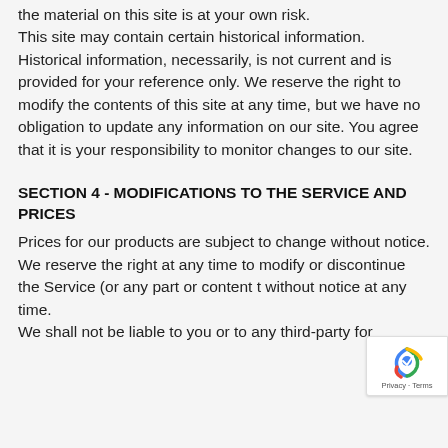the material on this site is at your own risk. This site may contain certain historical information. Historical information, necessarily, is not current and is provided for your reference only. We reserve the right to modify the contents of this site at any time, but we have no obligation to update any information on our site. You agree that it is your responsibility to monitor changes to our site.
SECTION 4 - MODIFICATIONS TO THE SERVICE AND PRICES
Prices for our products are subject to change without notice.
We reserve the right at any time to modify or discontinue the Service (or any part or content t without notice at any time.
We shall not be liable to you or to any third-party for